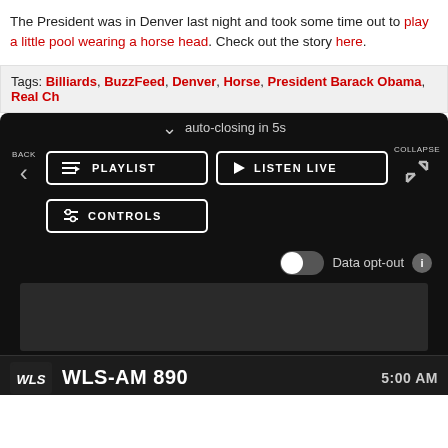The President was in Denver last night and took some time out to play a little pool wearing a horse head. Check out the story here.
Tags: Billiards, BuzzFeed, Denver, Horse, President Barack Obama, Real Ch...
[Figure (screenshot): Dark-themed radio player widget showing PLAYLIST, LISTEN LIVE, and CONTROLS buttons, a data opt-out toggle, an ad placeholder, and a WLS-AM 890 station bar at the bottom with 5:00 AM time display, plus a secondary WLS-AM 890 row with CHICAGO'S NEWS AND TALK WLS-AM 890, MENU label, X button, and play button]